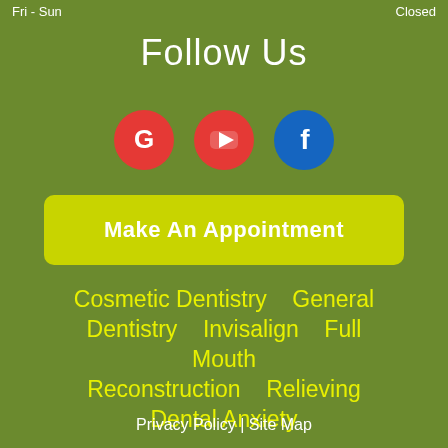Fri - Sun   Closed
Follow Us
[Figure (infographic): Three social media icons in circles: Google (red G), YouTube (red play button), Facebook (blue f)]
Make An Appointment
Cosmetic Dentistry   General Dentistry   Invisalign   Full Mouth Reconstruction   Relieving Dental Anxiety
Privacy Policy | Site Map